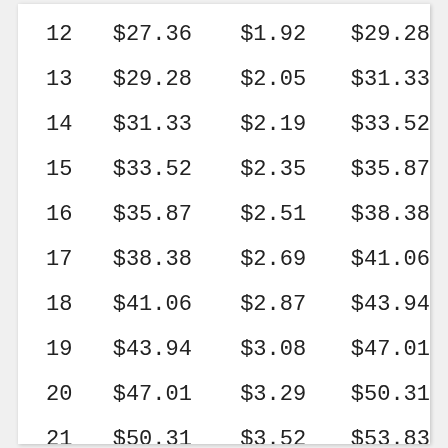| 12 | $27.36 | $1.92 | $29.28 |
| 13 | $29.28 | $2.05 | $31.33 |
| 14 | $31.33 | $2.19 | $33.52 |
| 15 | $33.52 | $2.35 | $35.87 |
| 16 | $35.87 | $2.51 | $38.38 |
| 17 | $38.38 | $2.69 | $41.06 |
| 18 | $41.06 | $2.87 | $43.94 |
| 19 | $43.94 | $3.08 | $47.01 |
| 20 | $47.01 | $3.29 | $50.31 |
| 21 | $50.31 | $3.52 | $53.83 |
| 22 | $53.83 | $3.77 | $57.60 |